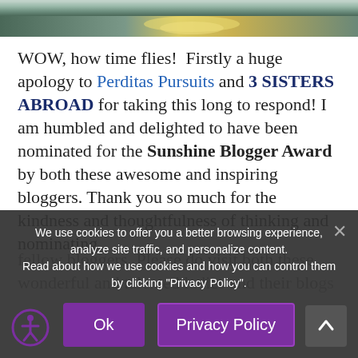[Figure (photo): Partial photo of sunlight reflecting on water, cropped to a horizontal strip at the top of the page.]
WOW, how time flies!  Firstly a huge apology to Perditas Pursuits and 3 SISTERS ABROAD for taking this long to respond! I am humbled and delighted to have been nominated for the Sunshine Blogger Award by both these awesome and inspiring bloggers. Thank you so much for the kindness and thoughtfulness of thinking and nominating fellow bloggers. Please do visit both these wonderful and talented ladies and their blogs...
We use cookies to offer you a better browsing experience, analyze site traffic, and personalize content. Read about how we use cookies and how you can control them by clicking "Privacy Policy".